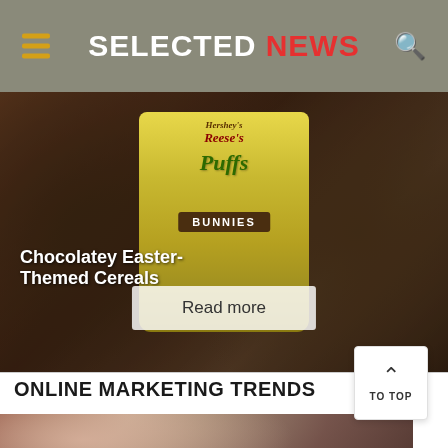SELECTED NEWS
[Figure (photo): Hero image showing Reese's Puffs Bunnies cereal box with chocolatey Easter-themed cereal in background, with Read more button]
Chocolatey Easter-Themed Cereals
ONLINE MARKETING TRENDS
[Figure (photo): Photo of a woman at what appears to be a red carpet event, with blurred background figures]